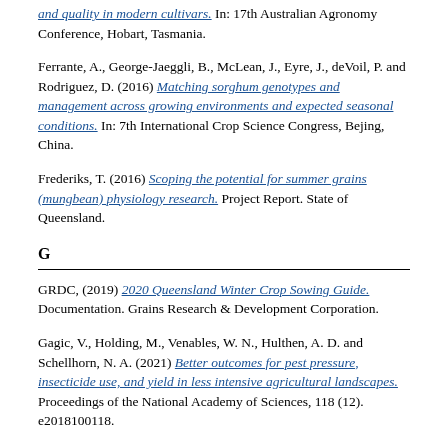and quality in modern cultivars. In: 17th Australian Agronomy Conference, Hobart, Tasmania.
Ferrante, A., George-Jaeggli, B., McLean, J., Eyre, J., deVoil, P. and Rodriguez, D. (2016) Matching sorghum genotypes and management across growing environments and expected seasonal conditions. In: 7th International Crop Science Congress, Bejing, China.
Frederiks, T. (2016) Scoping the potential for summer grains (mungbean) physiology research. Project Report. State of Queensland.
G
GRDC, (2019) 2020 Queensland Winter Crop Sowing Guide. Documentation. Grains Research & Development Corporation.
Gagic, V., Holding, M., Venables, W. N., Hulthen, A. D. and Schellhorn, N. A. (2021) Better outcomes for pest pressure, insecticide use, and yield in less intensive agricultural landscapes. Proceedings of the National Academy of Sciences, 118 (12). e2018100118.
Galán Saúco, V., Robinson, J. C., Tomer, E. and Daniells, J. W. (2012) Current situation and challenges of cultivating banana and other tropical fruits in the subtropics. Acta Horticulturae, 928 . pp. 19-30. ISSN 2406-6168
Garside, A.L. and Bell, M.J. (2009) Row spacing and planting density